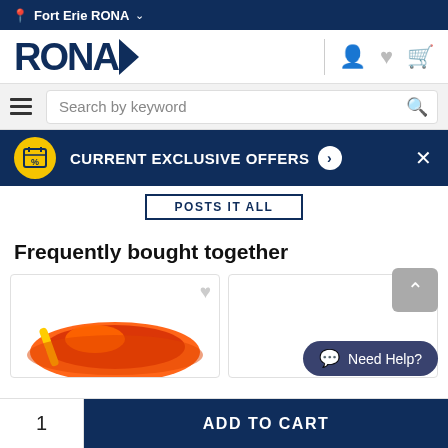Fort Erie RONA
[Figure (logo): RONA retail store logo in dark navy blue]
Search by keyword
CURRENT EXCLUSIVE OFFERS
POSTS IT ALL
Frequently bought together
[Figure (photo): Orange extension cord product image]
Need Help?
ADD TO CART